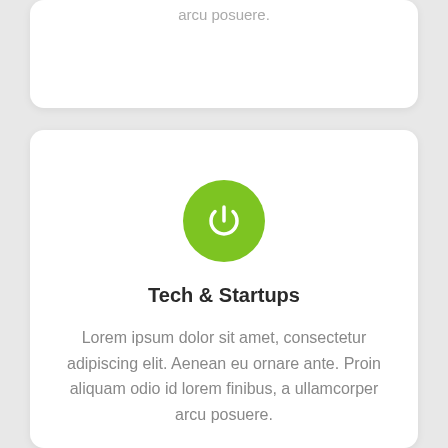arcu posuere.
[Figure (illustration): Green circular power button icon]
Tech & Startups
Lorem ipsum dolor sit amet, consectetur adipiscing elit. Aenean eu ornare ante. Proin aliquam odio id lorem finibus, a ullamcorper arcu posuere.